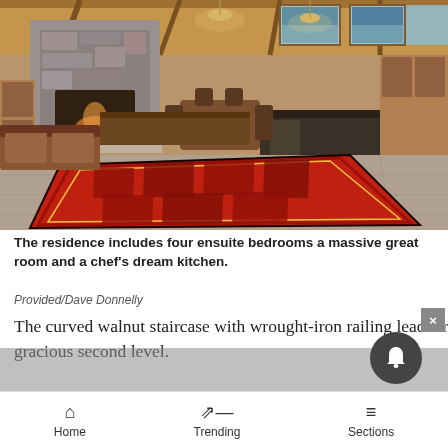[Figure (photo): Interior of a luxury home showing a large open-concept kitchen and great room with stone fireplace, wood beam ceilings, red Persian rug on stone floor, large kitchen island, and mountain/lake views through windows.]
The residence includes four ensuite bedrooms a massive great room and a chef's dream kitchen.
Provided/Dave Donnelly
The curved walnut staircase with wrought-iron railing leads from the open-concept first floor to the equally spacious and gracious second level.
Home    Trending    Sections